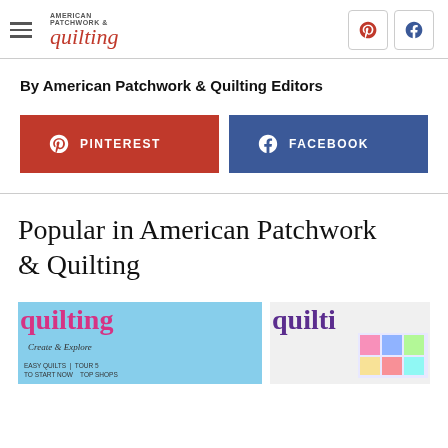American Patchwork & Quilting
By American Patchwork & Quilting Editors
[Figure (screenshot): Pinterest button (red) and Facebook button (blue) for sharing]
Popular in American Patchwork & Quilting
[Figure (photo): Two magazine cover thumbnails: quilting magazine with 'Create & Explore' subtitle]